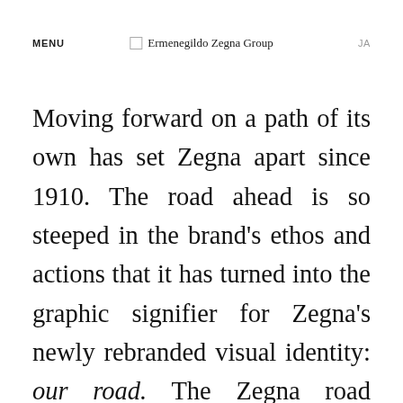MENU   Ermenegildo Zegna Group   JA
Moving forward on a path of its own has set Zegna apart since 1910. The road ahead is so steeped in the brand's ethos and actions that it has turned into the graphic signifier for Zegna's newly rebranded visual identity: our road. The Zegna road originates in the mountains, and crosses Oasi Zegna, the free-access natural territory in Piedmont,